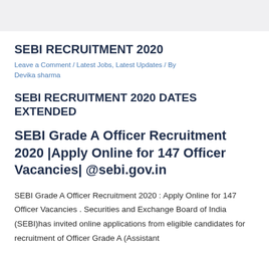SEBI RECRUITMENT 2020
Leave a Comment / Latest Jobs, Latest Updates / By Devika sharma
SEBI RECRUITMENT 2020 DATES EXTENDED
SEBI Grade A Officer Recruitment 2020 |Apply Online for 147 Officer Vacancies| @sebi.gov.in
SEBI Grade A Officer Recruitment 2020 : Apply Online for 147 Officer Vacancies . Securities and Exchange Board of India (SEBI)has invited online applications from eligible candidates for recruitment of Officer Grade A (Assistant